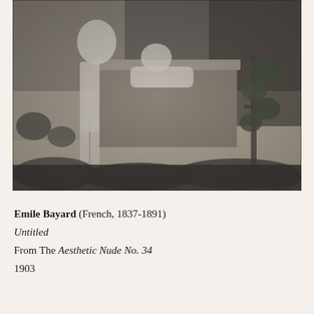[Figure (photo): A sepia-toned/black-and-white photograph showing a nude figure standing beside a pedestal or ledge with another figure reclining on it, surrounded by foliage and flowers on the ground.]
Emile Bayard (French, 1837-1891)
Untitled
From The Aesthetic Nude No. 34
1903